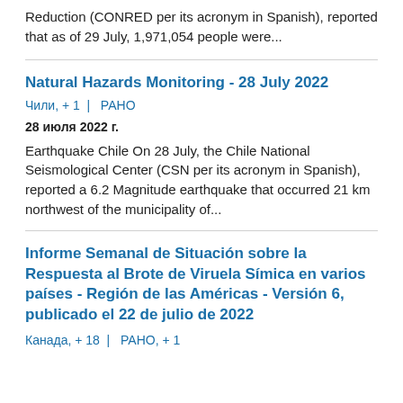Reduction (CONRED per its acronym in Spanish), reported that as of 29 July, 1,971,054 people were...
Natural Hazards Monitoring - 28 July 2022
Чили, + 1  |  РАНО
28 июля 2022 г.
Earthquake Chile On 28 July, the Chile National Seismological Center (CSN per its acronym in Spanish), reported a 6.2 Magnitude earthquake that occurred 21 km northwest of the municipality of...
Informe Semanal de Situación sobre la Respuesta al Brote de Viruela Símica en varios países - Región de las Américas - Versión 6, publicado el 22 de julio de 2022
Канада, + 18  |  РАНО, + 1